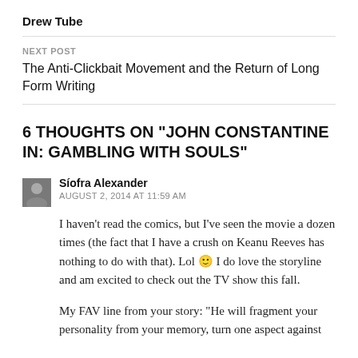Drew Tube
NEXT POST
The Anti-Clickbait Movement and the Return of Long Form Writing
6 THOUGHTS ON “JOHN CONSTANTINE IN: GAMBLING WITH SOULS”
Siofra Alexander
AUGUST 2, 2014 AT 11:59 AM
I haven’t read the comics, but I’ve seen the movie a dozen times (the fact that I have a crush on Keanu Reeves has nothing to do with that). Lol 🙂 I do love the storyline and am excited to check out the TV show this fall.
My FAV line from your story: “He will fragment your personality from your memory, turn one aspect against